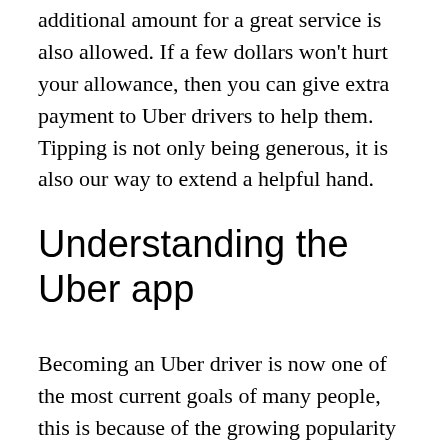additional amount for a great service is also allowed. If a few dollars won't hurt your allowance, then you can give extra payment to Uber drivers to help them. Tipping is not only being generous, it is also our way to extend a helpful hand.
Understanding the Uber app
Becoming an Uber driver is now one of the most current goals of many people, this is because of the growing popularity of Uber around the globe. Convenience, fare rules…